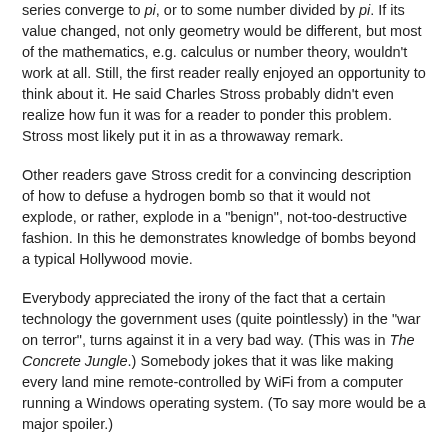series converge to pi, or to some number divided by pi. If its value changed, not only geometry would be different, but most of the mathematics, e.g. calculus or number theory, wouldn't work at all. Still, the first reader really enjoyed an opportunity to think about it. He said Charles Stross probably didn't even realize how fun it was for a reader to ponder this problem. Stross most likely put it in as a throwaway remark.
Other readers gave Stross credit for a convincing description of how to defuse a hydrogen bomb so that it would not explode, or rather, explode in a "benign", not-too-destructive fashion. In this he demonstrates knowledge of bombs beyond a typical Hollywood movie.
Everybody appreciated the irony of the fact that a certain technology the government uses (quite pointlessly) in the "war on terror", turns against it in a very bad way. (This was in The Concrete Jungle.) Somebody jokes that it was like making every land mine remote-controlled by WiFi from a computer running a Windows operating system. (To say more would be a major spoiler.)